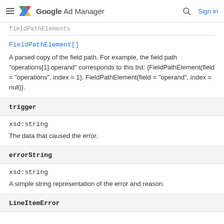Google Ad Manager — Sign in
fieldPathElements
FieldPathElement[]
A parsed copy of the field path. For example, the field path "operations[1].operand" corresponds to this list: {FieldPathElement(field = "operations", index = 1), FieldPathElement(field = "operand", index = null)}.
trigger
xsd:string
The data that caused the error.
errorString
xsd:string
A simple string representation of the error and reason.
LineItemError